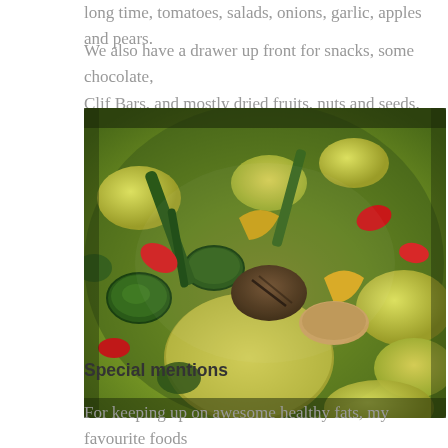long time, tomatoes, salads, onions, garlic, apples and pears.
We also have a drawer up front for snacks, some chocolate, Clif Bars, and mostly dried fruits, nuts and seeds.
[Figure (photo): A colorful stir-fry or roasted vegetable dish with potatoes, zucchini, red peppers, yellow peppers, mushrooms and other vegetables in a dark pan, photographed close up.]
Special mentions
For keeping up on awesome healthy fats, my favourite foods